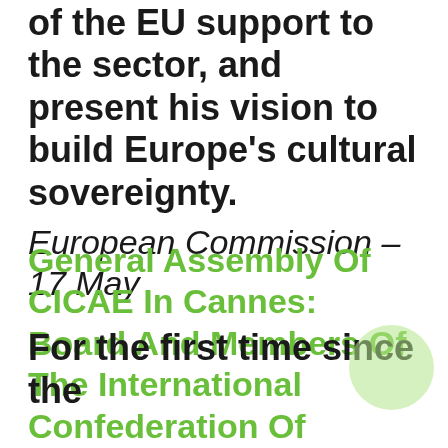of the EU support to the sector, and present his vision to build Europe's cultural sovereignty.
European Commission – 17 May
General Assembly Of CICAE In Cannes: Board And Members Of The International Confederation Of Arthouse Cinemas Discuss Future Of Art House Exhibition
For the first time since the